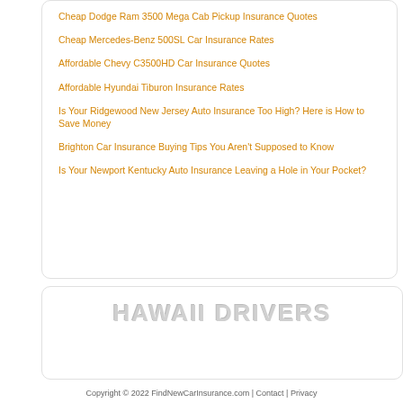Cheap Dodge Ram 3500 Mega Cab Pickup Insurance Quotes
Cheap Mercedes-Benz 500SL Car Insurance Rates
Affordable Chevy C3500HD Car Insurance Quotes
Affordable Hyundai Tiburon Insurance Rates
Is Your Ridgewood New Jersey Auto Insurance Too High? Here is How to Save Money
Brighton Car Insurance Buying Tips You Aren't Supposed to Know
Is Your Newport Kentucky Auto Insurance Leaving a Hole in Your Pocket?
[Figure (other): HAWAII DRIVERS watermark-style gray text banner]
Copyright © 2022 FindNewCarInsurance.com | Contact | Privacy